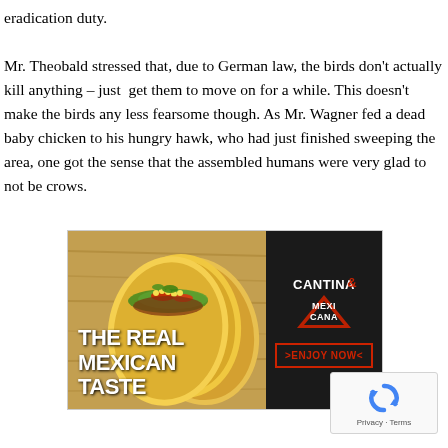eradication duty.

Mr. Theobald stressed that, due to German law, the birds don't actually kill anything – just get them to move on for a while. This doesn't make the birds any less fearsome though. As Mr. Wagner fed a dead baby chicken to his hungry hawk, who had just finished sweeping the area, one got the sense that the assembled humans were very glad to not be crows.
[Figure (illustration): Advertisement for Cantina Mexicana restaurant. Left side shows colorful Mexican tacos with vegetables on a wooden background with white bold text reading 'THE REAL MEXICAN TASTE'. Right side is black with Cantina Mexicana logo and a red button reading '>ENJOY NOW<'.]
[Figure (other): reCAPTCHA widget showing the Google reCAPTCHA icon and 'Privacy - Terms' text at bottom right corner of the page.]